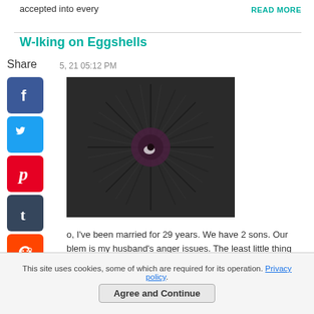accepted into every
READ MORE
Walking on Eggshells
Share
5, 21 05:12 PM
[Figure (photo): Close-up photo of a sea urchin with dark spines radiating outward]
o, I've been married for 29 years. We have 2 sons. Our blem is my husband's anger issues. The least little thing will him off and he goes on
READ MORE
This site uses cookies, some of which are required for its operation. Privacy policy.
Agree and Continue